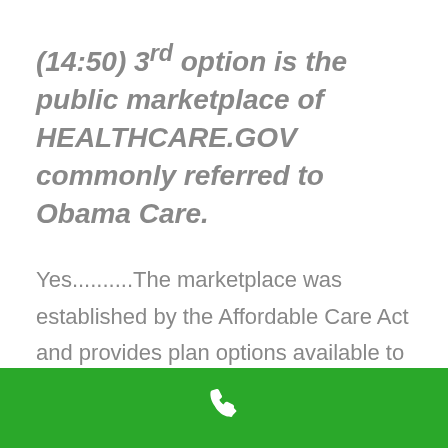(14:50) 3rd option is the public marketplace of HEALTHCARE.GOV commonly referred to Obama Care.
Yes..........The marketplace was established by the Affordable Care Act and provides plan options available to anyone who is not yet eligible for Medicare.
[Figure (illustration): Green footer bar with white phone/call icon centered]